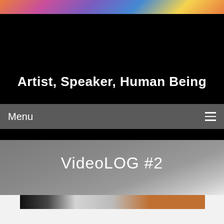[Figure (photo): Colorful abstract artwork banner at the top of the page with vivid multi-color pattern]
Artist, Speaker, Human Being
Menu
VideoLOG #2
[Figure (photo): Partial thumbnail of a video with dark and brown/copper tones]